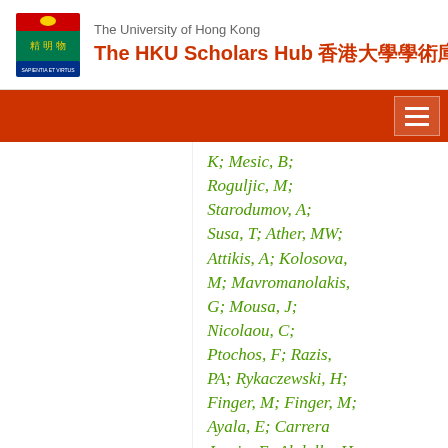The University of Hong Kong — The HKU Scholars Hub 香港大學學術庫
K; Mesic, B; Roguljic, M; Starodumov, A; Susa, T; Ather, MW; Attikis, A; Kolosova, M; Mavromanolakis, G; Mousa, J; Nicolaou, C; Ptochos, F; Razis, PA; Rykaczewski, H; Finger, M; Finger, M; Ayala, E; Carrera Jarrin, E; Abdalla, H; Assran, Y; Mohamed, A; Bhowmik, S; Carvalho Antunes